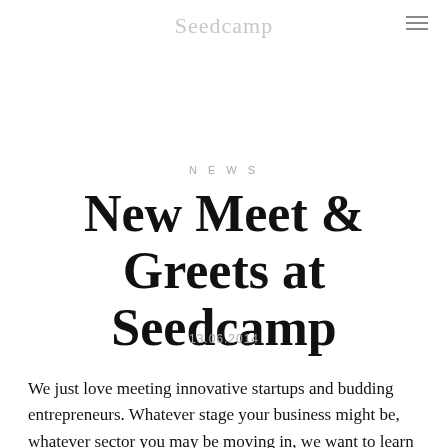Seedcamp
NEWS
New Meet & Greets at Seedcamp
13.06.2014
We just love meeting innovative startups and budding entrepreneurs. Whatever stage your business might be, whatever sector you may be moving in, we want to learn from you and help your business grow. But we are well aware that applying for funding can be downright tricky. There are so many options out